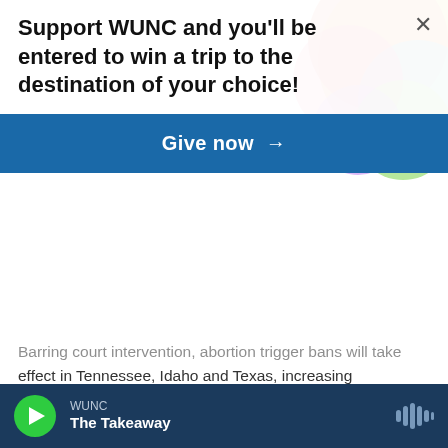Support WUNC and you'll be entered to win a trip to the destination of your choice!
[Figure (illustration): Blue 'Give now →' button banner]
Barring court intervention, abortion trigger bans will take effect in Tennessee, Idaho and Texas, increasing penalties where abortion is already effectively banned.
[Figure (photo): Photo of a young man wearing a beige hat in front of a blue background with 'GEHOG' text partially visible]
WUNC | The Takeaway